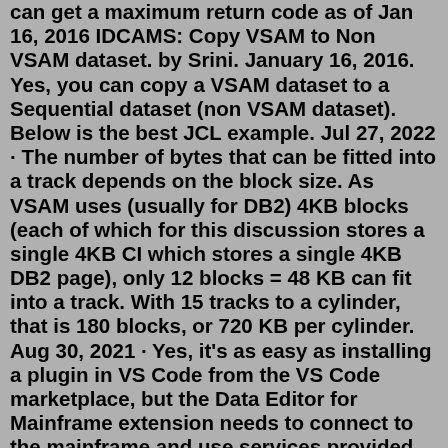can get a maximum return code as of Jan 16, 2016 IDCAMS: Copy VSAM to Non VSAM dataset. by Srini. January 16, 2016. Yes, you can copy a VSAM dataset to a Sequential dataset (non VSAM dataset). Below is the best JCL example. Jul 27, 2022 · The number of bytes that can be fitted into a track depends on the block size. As VSAM uses (usually for DB2) 4KB blocks (each of which for this discussion stores a single 4KB CI which stores a single 4KB DB2 page), only 12 blocks = 48 KB can fit into a track. With 15 tracks to a cylinder, that is 180 blocks, or 720 KB per cylinder. Aug 30, 2021 · Yes, it's as easy as installing a plugin in VS Code from the VS Code marketplace, but the Data Editor for Mainframe extension needs to connect to the mainframe and use services provided by File ... VSAM Striping. z/OS will normally schedule just one I/O at a time to a dataset, even if that dataset is spread over multiple volumes and PAV aliases are enabled. If a VSAM file is allocated multi-volume as a striped dataset, then concurrent I/O is possible. The data is striped by CI